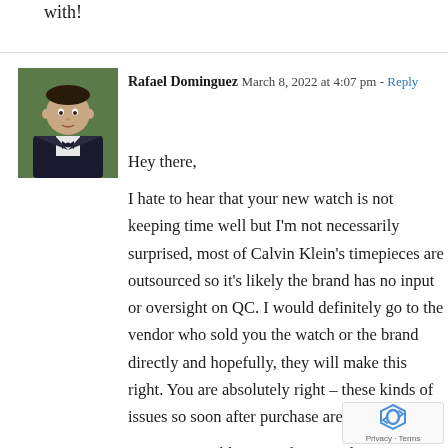with!
Rafael Dominguez  March 8, 2022 at 4:07 pm - Reply
[Figure (photo): Profile photo of Rafael Dominguez, a man in a tuxedo/suit with bow tie]
Hey there,

I hate to hear that your new watch is not keeping time well but I'm not necessarily surprised, most of Calvin Klein's timepieces are outsourced so it's likely the brand has no input or oversight on QC. I would definitely go to the vendor who sold you the watch or the brand directly and hopefully, they will make this right. You are absolutely right – these kinds of issues so soon after purchase are unacceptable.

Hope you're able to get this sorted,
Rafael